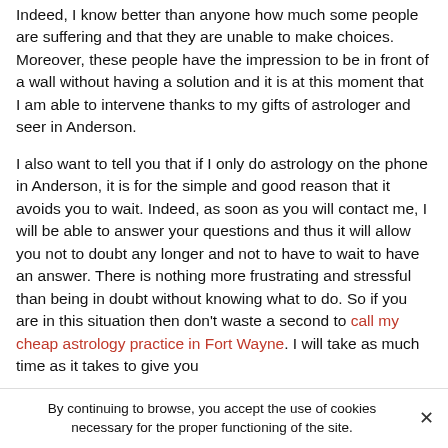Indeed, I know better than anyone how much some people are suffering and that they are unable to make choices. Moreover, these people have the impression to be in front of a wall without having a solution and it is at this moment that I am able to intervene thanks to my gifts of astrologer and seer in Anderson.

I also want to tell you that if I only do astrology on the phone in Anderson, it is for the simple and good reason that it avoids you to wait. Indeed, as soon as you will contact me, I will be able to answer your questions and thus it will allow you not to doubt any longer and not to have to wait to have an answer. There is nothing more frustrating and stressful than being in doubt without knowing what to do. So if you are in this situation then don't waste a second to call my cheap astrology practice in Fort Wayne. I will take as much time as it takes to give you
By continuing to browse, you accept the use of cookies necessary for the proper functioning of the site.